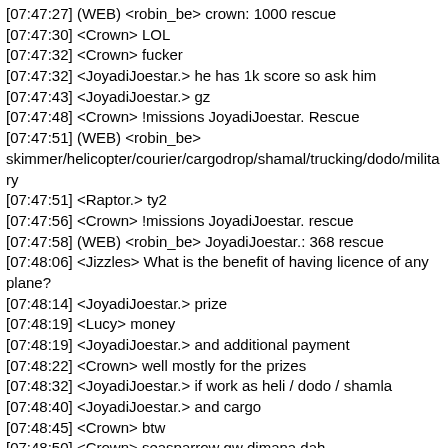[07:47:27] (WEB) <robin_be> crown: 1000 rescue
[07:47:30] <Crown> LOL
[07:47:32] <Crown> fucker
[07:47:32] <JoyadiJoestar.> he has 1k score so ask him
[07:47:43] <JoyadiJoestar.> gz
[07:47:48] <Crown> !missions JoyadiJoestar. Rescue
[07:47:51] (WEB) <robin_be> skimmer/helicopter/courier/cargodrop/shamal/trucking/dodo/military
[07:47:51] <Raptor.> ty2
[07:47:56] <Crown> !missions JoyadiJoestar. rescue
[07:47:58] (WEB) <robin_be> JoyadiJoestar.: 368 rescue
[07:48:06] <Jizzles> What is the benefit of having licence of any plane?
[07:48:14] <JoyadiJoestar.> prize
[07:48:19] <Lucy> money
[07:48:19] <JoyadiJoestar.> and additional payment
[07:48:22] <Crown> well mostly for the prizes
[07:48:32] <JoyadiJoestar.> if work as heli / dodo / shamla
[07:48:40] <JoyadiJoestar.> and cargo
[07:48:45] <Crown> btw
[07:48:50] <Crown> seasparrow gw dimana dah
[07:49:22] <Lucy> chutiya ben chod
[07:49:24] <Raptor.> ambil di pp dhy
[07:49:29] <JoyadiJoestar.> chutiya
[07:49:32] <Crown> oh ini ada di VMA vin